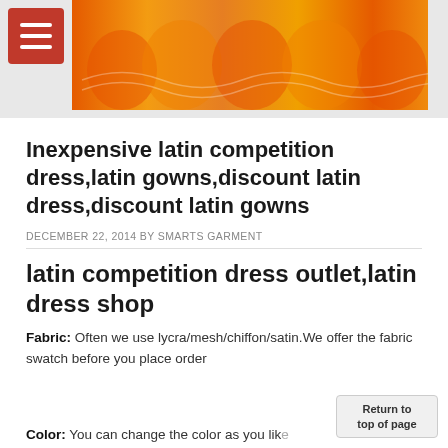[Figure (photo): Orange latin competition dresses on display, side by side, with ruffled skirts]
Inexpensive latin competition dress,latin gowns,discount latin dress,discount latin gowns
DECEMBER 22, 2014 BY SMARTS GARMENT
latin competition dress outlet,latin dress shop
Fabric: Often we use lycra/mesh/chiffon/satin.We offer the fabric swatch before you place order
Color: You can change the color as you like